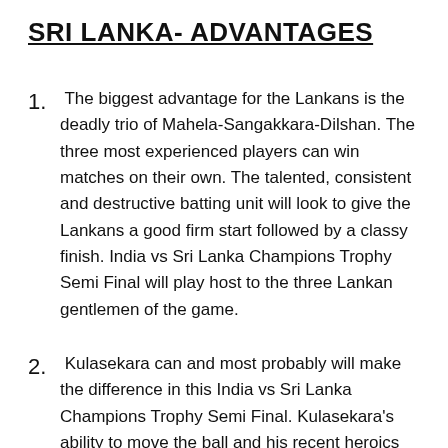SRI LANKA- ADVANTAGES
1. The biggest advantage for the Lankans is the deadly trio of Mahela-Sangakkara-Dilshan. The three most experienced players can win matches on their own. The talented, consistent and destructive batting unit will look to give the Lankans a good firm start followed by a classy finish. India vs Sri Lanka Champions Trophy Semi Final will play host to the three Lankan gentlemen of the game.
2. Kulasekara can and most probably will make the difference in this India vs Sri Lanka Champions Trophy Semi Final. Kulasekara's ability to move the ball and his recent heroics with the bat have put him in the category of an all-